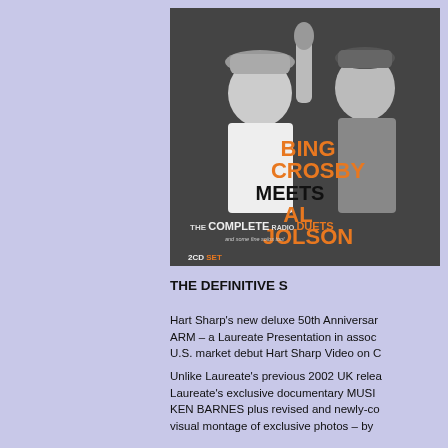[Figure (photo): Album cover for 'Bing Crosby Meets Al Jolson – The Complete Radio Duets' 2CD Set, showing a black and white photo of two men smiling near a microphone, with orange and black text overlay.]
THE DEFINITIVE S
Hart Sharp's new deluxe 50th Anniversar ARM – a Laureate Presentation in assoc U.S. market debut Hart Sharp Video on C
Unlike Laureate's previous 2002 UK relea Laureate's exclusive documentary MUSI KEN BARNES plus revised and newly-co visual montage of exclusive photos – by